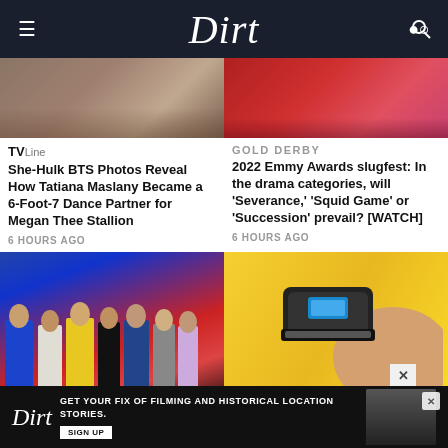Dirt
[Figure (photo): Top image strip left - brown/warm tones photo]
[Figure (photo): Top image strip right - red/pink tones photo]
TVLine
GOLD DERBY
She-Hulk BTS Photos Reveal How Tatiana Maslany Became a 6-Foot-7 Dance Partner for Megan Thee Stallion
2022 Emmy Awards slugfest: In the drama categories, will 'Severance,' 'Squid Game' or 'Succession' prevail? [WATCH]
6 HOURS AGO
6 HOURS AGO
[Figure (photo): Red carpet group photo with people in formal attire]
[Figure (photo): Close-up photo of hair trimmer/clipper on yellow background]
[Figure (other): Advertisement banner: Dirt logo with text GET YOUR FIX OF FILMING AND HISTORICAL LOCATION STORIES. SIGN UP]